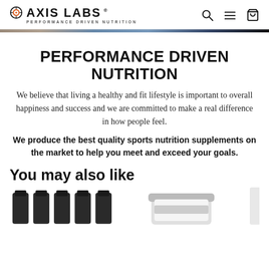AXIS LABS PERFORMANCE DRIVEN NUTRITION
PERFORMANCE DRIVEN NUTRITION
We believe that living a healthy and fit lifestyle is important to overall happiness and success and we are committed to make a real difference in how people feel.
We produce the best quality sports nutrition supplements on the market to help you meet and exceed your goals.
You may also like
[Figure (photo): Product thumbnails row showing supplement bottles and containers]